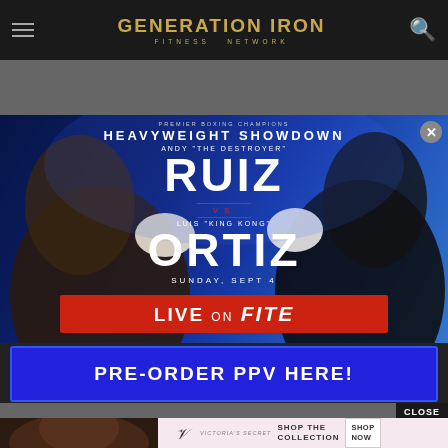GENERATION IRON FITNESS NETWORK
[Figure (photo): Boxing event promotional poster for Premier Boxing Champions Heavyweight Showdown: Andy 'The Destroyer' Ruiz vs Luis 'King Kong' Ortiz, Sunday Sept 4, Live on FITE. Blue background with two boxers facing each other.]
PRE-ORDER PPV HERE!
CLOSE
[Figure (photo): Victoria's Secret advertisement with woman model, VS logo, 'SHOP THE COLLECTION' text, and 'SHOP NOW' button]